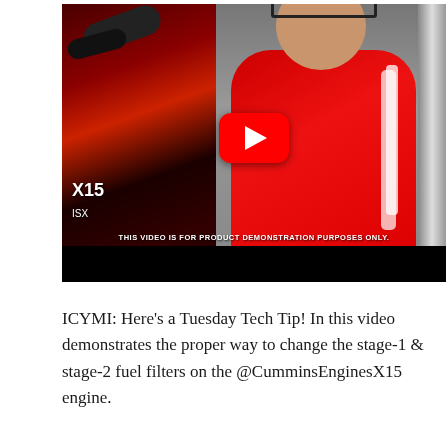[Figure (screenshot): YouTube video thumbnail showing a man in a red polo shirt standing next to a Cummins X15 engine. A red YouTube play button is centered on the image. Text overlay reads 'THIS VIDEO IS FOR PRODUCT DEMONSTRATION PURPOSES ONLY.' The bottom portion is a black bar.]
ICYMI: Here's a Tuesday Tech Tip! In this video demonstrates the proper way to change the stage-1 & stage-2 fuel filters on the @CumminsEnginesX15 engine.